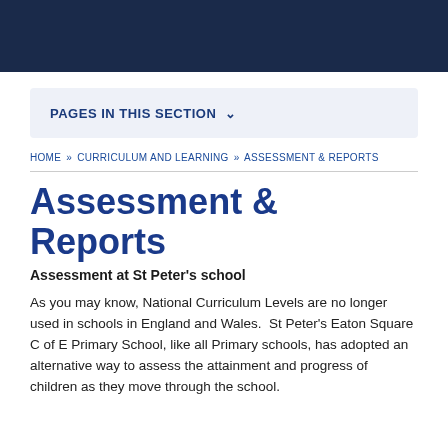PAGES IN THIS SECTION ˅
HOME » CURRICULUM AND LEARNING » ASSESSMENT & REPORTS
Assessment & Reports
Assessment at St Peter's school
As you may know, National Curriculum Levels are no longer used in schools in England and Wales.  St Peter's Eaton Square C of E Primary School, like all Primary schools, has adopted an alternative way to assess the attainment and progress of children as they move through the school.